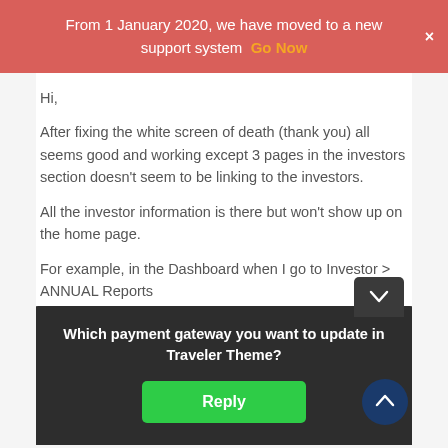From 1 January 2020, we have moved to a new support system  Go Now
Hi,
After fixing the white screen of death (thank you) all seems good and working except 3 pages in the investors section doesn't seem to be linking to the investors.
All the investor information is there but won't show up on the home page.
For example, in the Dashboard when I go to Investor > ANNUAL Reports (http://... ...ort-1/) the ... ...wing up on ... ...te menu ... ...Gone
Which payment gateway you want to update in Traveler Theme?
Reply